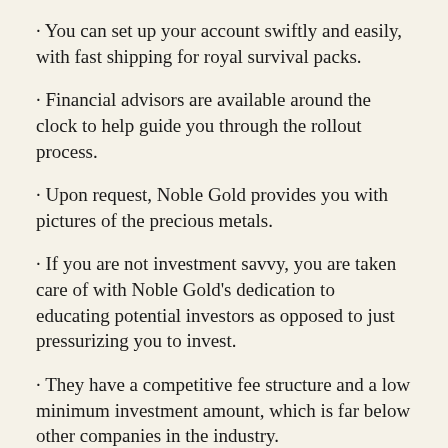You can set up your account swiftly and easily, with fast shipping for royal survival packs.
Financial advisors are available around the clock to help guide you through the rollout process.
Upon request, Noble Gold provides you with pictures of the precious metals.
If you are not investment savvy, you are taken care of with Noble Gold's dedication to educating potential investors as opposed to just pressurizing you to invest.
They have a competitive fee structure and a low minimum investment amount, which is far below other companies in the industry.